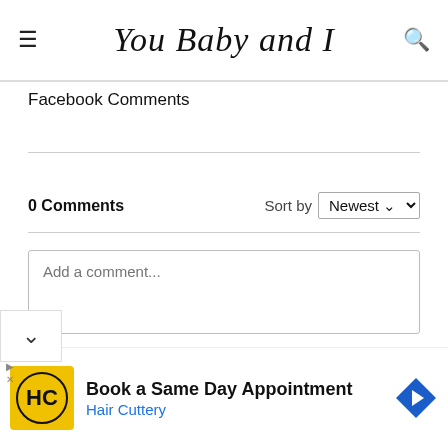You Baby and I
Facebook Comments
0 Comments   Sort by   Newest
[Figure (screenshot): Add a comment... text input box with resize handle]
[Figure (screenshot): Advertisement: Book a Same Day Appointment - Hair Cuttery with HC logo and navigation arrow icon]